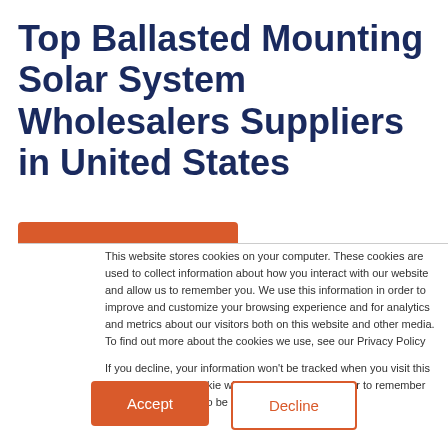Top Ballasted Mounting Solar System Wholesalers Suppliers in United States
This website stores cookies on your computer. These cookies are used to collect information about how you interact with our website and allow us to remember you. We use this information in order to improve and customize your browsing experience and for analytics and metrics about our visitors both on this website and other media. To find out more about the cookies we use, see our Privacy Policy
If you decline, your information won't be tracked when you visit this website. A single cookie will be used in your browser to remember your preference not to be tracked.
Accept
Decline